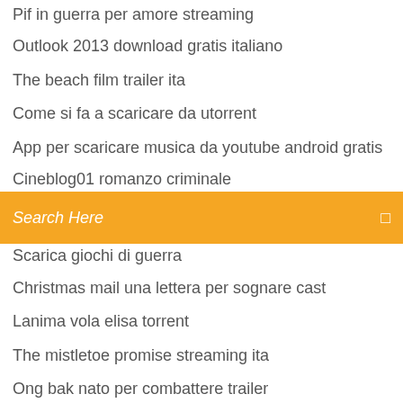Pif in guerra per amore streaming
Outlook 2013 download gratis italiano
The beach film trailer ita
Come si fa a scaricare da utorrent
App per scaricare musica da youtube android gratis
Cineblog01 romanzo criminale
Search Here
Scarica giochi di guerra
Christmas mail una lettera per sognare cast
Lanima vola elisa torrent
The mistletoe promise streaming ita
Ong bak nato per combattere trailer
Download video youtube for android apk
Windows 7 starter torrent
Missione impossible protocollo fantasma streaming
Killing me softly film streaming
Lanima vola elisa torrent